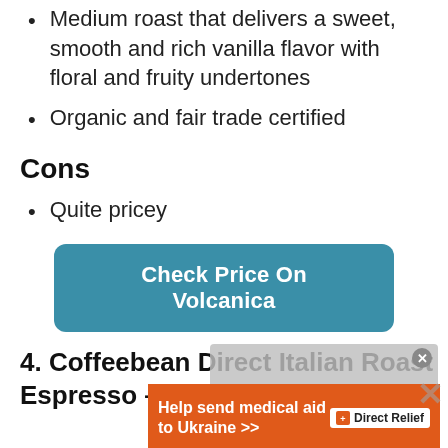Medium roast that delivers a sweet, smooth and rich vanilla flavor with floral and fruity undertones
Organic and fair trade certified
Cons
Quite pricey
[Figure (other): Teal rounded button labeled 'Check Price On Volcanica']
4. Coffeebean Direct Italian Roast Espresso – Best Budget
[Figure (other): Advertisement overlay showing 'Help send medical aid to Ukraine' with Direct Relief logo and an X close button on a gray background]